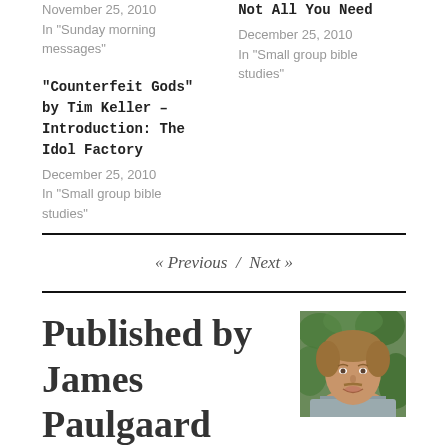November 25, 2010
In "Sunday morning messages"
Not All You Need
December 25, 2010
In "Small group bible studies"
"Counterfeit Gods" by Tim Keller – Introduction: The Idol Factory
December 25, 2010
In "Small group bible studies"
« Previous / Next »
Published by James Paulgaard
[Figure (photo): Headshot photo of James Paulgaard, a middle-aged man with light brown hair, smiling, with green foliage background]